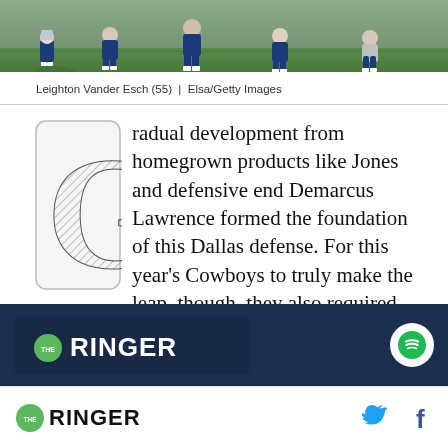[Figure (photo): Football players on a grass field, players in Dallas Cowboys uniforms visible]
Leighton Vander Esch (55)  |  Elsa/Getty Images
Gradual development from homegrown products like Jones and defensive end Demarcus Lawrence formed the foundation of this Dallas defense. For this year's Cowboys to truly make the leap, though, they also required an adrenaline shot to the heart.
[Figure (logo): The Ringer podcast advertisement banner with Spotify logo]
THE RINGER  [Twitter icon] [Facebook icon]